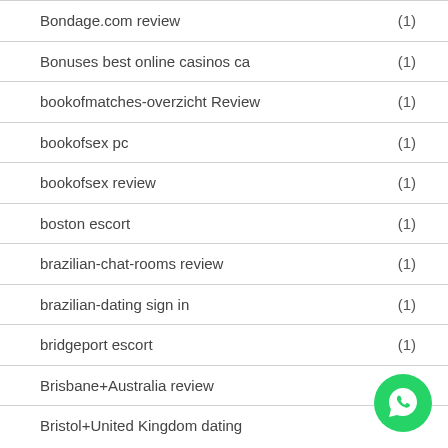Bondage.com review (1)
Bonuses best online casinos ca (1)
bookofmatches-overzicht Review (1)
bookofsex pc (1)
bookofsex review (1)
boston escort (1)
brazilian-chat-rooms review (1)
brazilian-dating sign in (1)
bridgeport escort (1)
Brisbane+Australia review
Bristol+United Kingdom dating